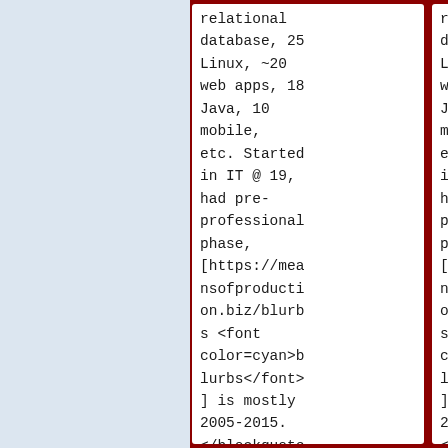relational database, 25 Linux, ~20 web apps, 18 Java, 10 mobile, etc. Started in IT @ 19, had pre-professional phase, [https://meansofproduction.biz/blurbs <font color=cyan>blurbs</font>] is mostly 2005-2015. </blockquote>
relational database, 25 Linux, ~20 web apps, 18 Java, 10 mobile, etc. Started in IT @ 19, had pre-professional phase, [https://meansofproduction.biz/blurbs <font color=cyan>blurbs</font>] is mostly 2005-2015. </blockquote>